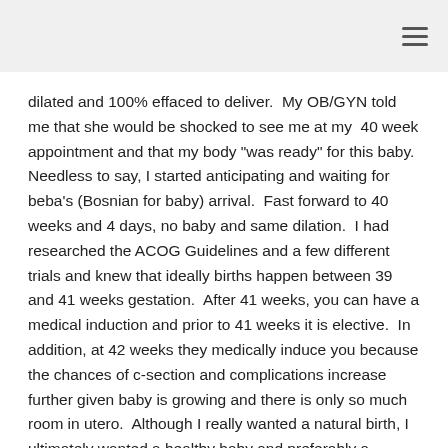dilated and 100% effaced to deliver.  My OB/GYN told me that she would be shocked to see me at my  40 week appointment and that my body "was ready" for this baby.  Needless to say, I started anticipating and waiting for beba's (Bosnian for baby) arrival.  Fast forward to 40 weeks and 4 days, no baby and same dilation.  I had researched the ACOG Guidelines and a few different trials and knew that ideally births happen between 39 and 41 weeks gestation.  After 41 weeks, you can have a medical induction and prior to 41 weeks it is elective.  In addition, at 42 weeks they medically induce you because the chances of c-section and complications increase further given baby is growing and there is only so much room in utero.  Although I really wanted a natural birth, I ultimately wanted a healthy baby and preferably a vaginal delivery.  I scheduled an "elective" induction for Sunday, May 17h a 8 PM when I was 40 weeks and